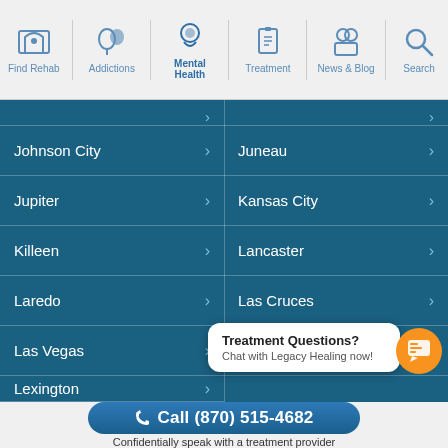Find Rehab | Addictions | Mental Health | Treatment | News & Blog | Search
Johnson City
Juneau
Jupiter
Kansas City
Killeen
Lancaster
Laredo
Las Cruces
Las Vegas
Lewiston
Lexington
Little Rock
Long Beach
Treatment Questions? Chat with Legacy Healing now!
Call (870) 515-4682
Confidentially speak with a treatment provider